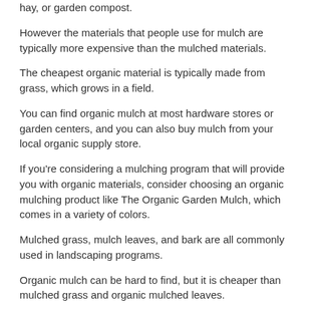hay, or garden compost.
However the materials that people use for mulch are typically more expensive than the mulched materials.
The cheapest organic material is typically made from grass, which grows in a field.
You can find organic mulch at most hardware stores or garden centers, and you can also buy mulch from your local organic supply store.
If you're considering a mulching program that will provide you with organic materials, consider choosing an organic mulching product like The Organic Garden Mulch, which comes in a variety of colors.
Mulched grass, mulch leaves, and bark are all commonly used in landscaping programs.
Organic mulch can be hard to find, but it is cheaper than mulched grass and organic mulched leaves.
Category: Introduction Tagged abstract landscape art, florida landscape plants, landscape mulch, patio landscaping ideas, yard landscaping ideas
How to turn your house into a